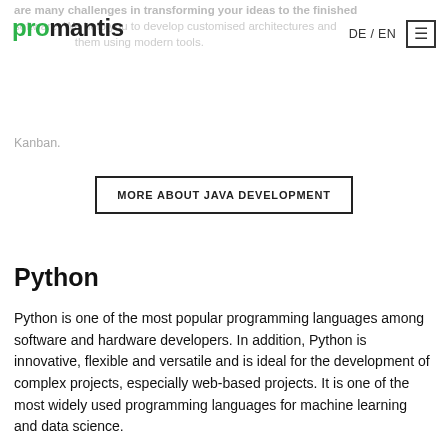promantis  DE / EN ☰
are many challenges in transforming your ideas to the finished software. We help you to develop customised architectures and them using modern tools. Kanban.
MORE ABOUT JAVA DEVELOPMENT
Python
Python is one of the most popular programming languages among software and hardware developers. In addition, Python is innovative, flexible and versatile and is ideal for the development of complex projects, especially web-based projects. It is one of the most widely used programming languages for machine learning and data science.